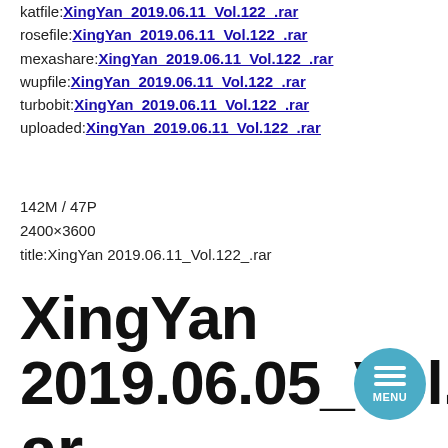katfile:XingYan_2019.06.11_Vol.122_.rar
rosefile:XingYan_2019.06.11_Vol.122_.rar
mexashare:XingYan_2019.06.11_Vol.122_.rar
wupfile:XingYan_2019.06.11_Vol.122_.rar
turbobit:XingYan_2019.06.11_Vol.122_.rar
uploaded:XingYan_2019.06.11_Vol.122_.rar
142M / 47P
2400×3600
title:XingYan 2019.06.11_Vol.122_.rar
XingYan 2019.06.05_Vol.121.rar